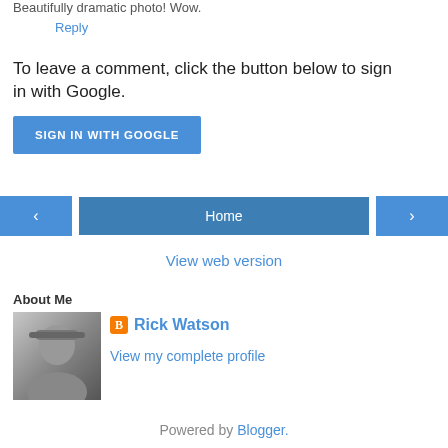Beautifully dramatic photo! Wow.
Reply
To leave a comment, click the button below to sign in with Google.
SIGN IN WITH GOOGLE
‹
Home
›
View web version
About Me
[Figure (photo): Black and white profile photo of a person wearing a hat, sitting outdoors]
Rick Watson
View my complete profile
Powered by Blogger.